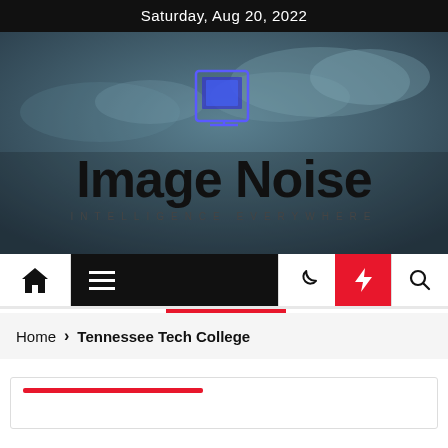Saturday, Aug 20, 2022
[Figure (logo): Image Noise website banner with computer logo icon and tagline INTELLIGENCE EVERYWHERE on a cloudy dark teal background]
[Figure (infographic): Navigation bar with home icon, hamburger menu, moon/dark mode icon, red lightning bolt icon, and search icon]
Home > Tennessee Tech College